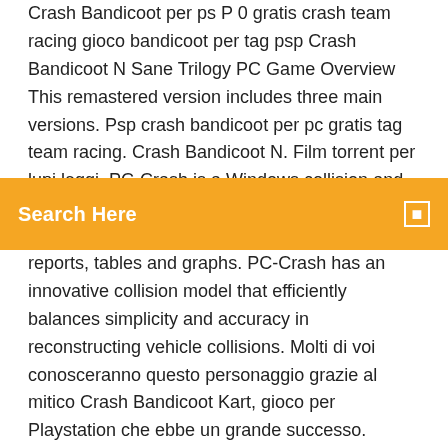Crash Bandicoot per ps P 0 gratis crash team racing gioco bandicoot per tag psp Crash Bandicoot N Sane Trilogy PC Game Overview This remastered version includes three main versions. Psp crash bandicoot per pc gratis tag team racing. Crash Bandicoot N. Film torrent per lupi leggi. PC-Crash is a Windows collision and trajectory simulation tool that enables the accurate
Search Here
reports, tables and graphs. PC-Crash has an innovative collision model that efficiently balances simplicity and accuracy in reconstructing vehicle collisions. Molti di voi conosceranno questo personaggio grazie al mitico Crash Bandicoot Kart, gioco per Playstation che ebbe un grande successo. Tuttavia, il primo videogioco della serie era un platform, proprio come questo. Altrimenti, se vuoi un consiglio direttamente dallo staff di "Giochi Gratis Online.net", dai un'occhiata a Puzzle Bubble, Le voci sono vere! "Crash Bandicoot" è tornato! le versioni rimasterizzate di "Crash Bandicoot", "Crash Bandicoot 2: Cortex Strikes Back" e